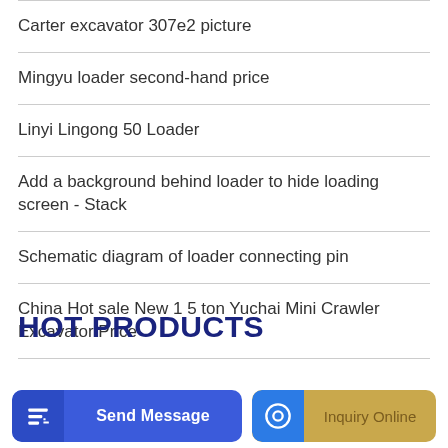Carter excavator 307e2 picture
Mingyu loader second-hand price
Linyi Lingong 50 Loader
Add a background behind loader to hide loading screen - Stack
Schematic diagram of loader connecting pin
China Hot sale New 1 5 ton Yuchai Mini Crawler Excavator Price
HOT PRODUCTS